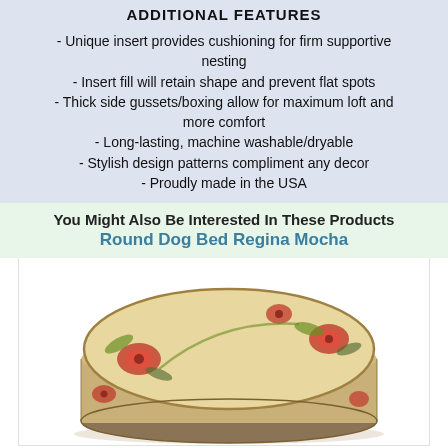ADDITIONAL FEATURES
- Unique insert provides cushioning for firm supportive nesting
- Insert fill will retain shape and prevent flat spots
- Thick side gussets/boxing allow for maximum loft and more comfort
- Long-lasting, machine washable/dryable
- Stylish design patterns compliment any decor
- Proudly made in the USA
You Might Also Be Interested In These Products
Round Dog Bed Regina Mocha
[Figure (photo): A round dog bed with floral pattern fabric in cream/beige with red and green floral designs, viewed from a slightly elevated angle showing its thick cushioned profile.]